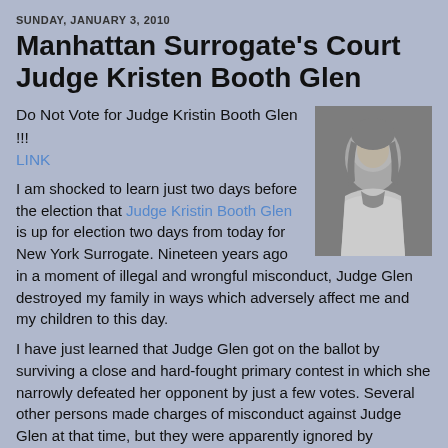SUNDAY, JANUARY 3, 2010
Manhattan Surrogate's Court Judge Kristen Booth Glen
Do Not Vote for Judge Kristin Booth Glen !!!
LINK
[Figure (photo): Black and white portrait photo of a woman with shoulder-length hair wearing a light blazer and scarf]
I am shocked to learn just two days before the election that Judge Kristin Booth Glen is up for election two days from today for New York Surrogate. Nineteen years ago in a moment of illegal and wrongful misconduct, Judge Glen destroyed my family in ways which adversely affect me and my children to this day.
I have just learned that Judge Glen got on the ballot by surviving a close and hard-fought primary contest in which she narrowly defeated her opponent by just a few votes. Several other persons made charges of misconduct against Judge Glen at that time, but they were apparently ignored by